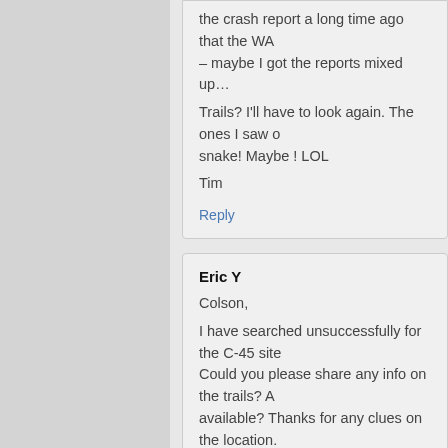the crash report a long time ago that the WA – maybe I got the reports mixed up… Trails? I'll have to look again. The ones I saw snake! Maybe ! LOL Tim
Reply
Eric Y
Colson,
I have searched unsuccessfully for the C-45 site Could you please share any info on the trails? A available? Thanks for any clues on the location. Point based on a reporter's directions, but avail debris field is more north of Ransom. Eric
Reply
Larry Stookey,